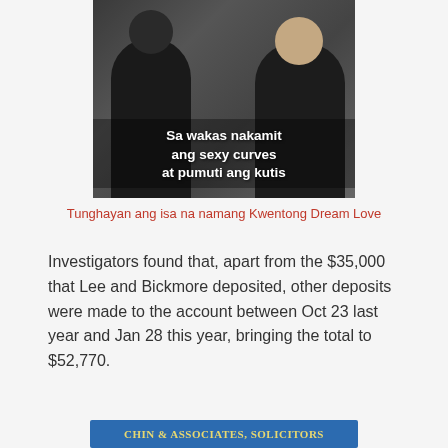[Figure (photo): Two women standing together in what appears to be a store. Text overlay reads: Sa wakas nakamit ang sexy curves at pumuti ang kutis]
Tunghayan ang isa na namang Kwentong Dream Love
Investigators found that, apart from the $35,000 that Lee and Bickmore deposited, other deposits were made to the account between Oct 23 last year and Jan 28 this year, bringing the total to $52,770.
[Figure (logo): Chin & Associates, Solicitors banner logo with blue background and yellow text]